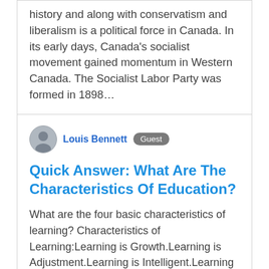history and along with conservatism and liberalism is a political force in Canada. In its early days, Canada's socialist movement gained momentum in Western Canada. The Socialist Labor Party was formed in 1898…
Louis Bennett  Guest
Quick Answer: What Are The Characteristics Of Education?
What are the four basic characteristics of learning? Characteristics of Learning:Learning is Growth.Learning is Adjustment.Learning is Intelligent.Learning is Active.Learning is the product of Environment.Learning is both Individual and Social.Learning is Purposeful.Learning is organising Experience.More items.... What is education and its characteristics?